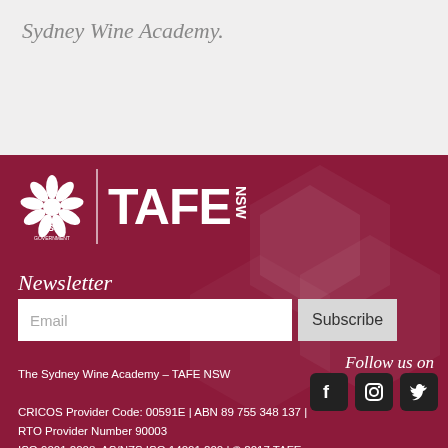Sydney Wine Academy.
[Figure (logo): NSW Government TAFE NSW logo with waratah flower emblem on dark red background]
Newsletter
Email  Subscribe
Follow us on
[Figure (illustration): Social media icons: Facebook, Instagram, Twitter on dark rounded square backgrounds]
The Sydney Wine Academy – TAFE NSW

CRICOS Provider Code: 00591E | ABN 89 755 348 137 | RTO Provider Number 90003
ISO 9001:2008; AS/NZS ISO 14001:200 | © 2017 TAFE NSW

Sitemap | Copyright & Disclaimer | Privacy Policy
Terms and Conditions